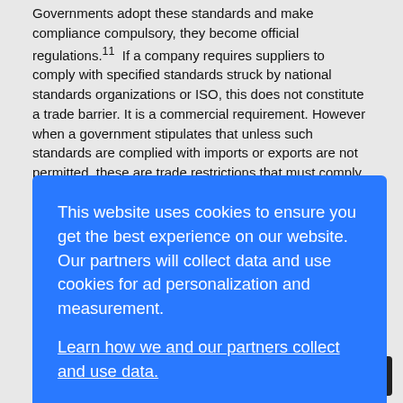Governments adopt these standards and make compliance compulsory, they become official regulations.11  If a company requires suppliers to comply with specified standards struck by national standards organizations or ISO, this does not constitute a trade barrier. It is a commercial requirement. However when a government stipulates that unless such standards are complied with imports or exports are not permitted, these are trade restrictions that must comply with WTO rules, including the provisions of the SPS and TBT Agreements. Where eco-labelling systems are not mandated by governments, but are applied by commercial entities for the information of consumers, these are
[Figure (other): Cookie consent overlay dialog with blue background. Text reads: 'This website uses cookies to ensure you get the best experience on our website. Our partners will collect data and use cookies for ad personalization and measurement.' A link reads: 'Learn how we and our partners collect and use data.' A white OK button is shown at the bottom center.]
between standards with which compliance